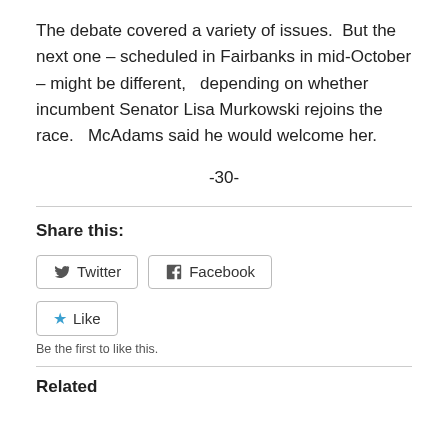The debate covered a variety of issues.  But the next one – scheduled in Fairbanks in mid-October – might be different,   depending on whether incumbent Senator Lisa Murkowski rejoins the race.   McAdams said he would welcome her.
-30-
Share this:
Twitter   Facebook
Like
Be the first to like this.
Related